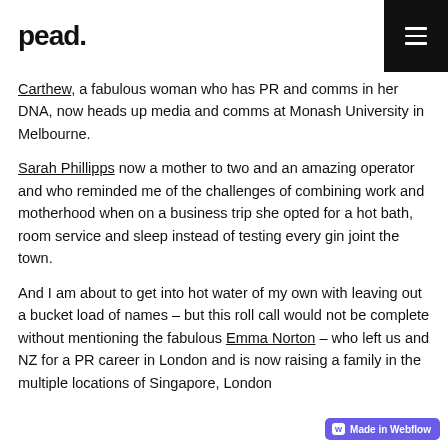pead.
Carthew, a fabulous woman who has PR and comms in her DNA, now heads up media and comms at Monash University in Melbourne.
Sarah Phillipps now a mother to two and an amazing operator and who reminded me of the challenges of combining work and motherhood when on a business trip she opted for a hot bath, room service and sleep instead of testing every gin joint the town.
And I am about to get into hot water of my own with leaving out a bucket load of names – but this roll call would not be complete without mentioning the fabulous Emma Norton – who left us and NZ for a PR career in London and is now raising a family in the multiple locations of Singapore, London